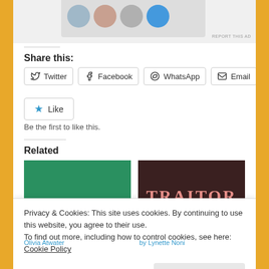[Figure (screenshot): Top ad image strip showing partial profile photos]
REPORT THIS AD
Share this:
Twitter
Facebook
WhatsApp
Email
Like
Be the first to like this.
Related
[Figure (illustration): Book cover: 'a SOUL' on green background]
[Figure (illustration): Book cover: 'TRAITOR' in pink on dark background]
Privacy & Cookies: This site uses cookies. By continuing to use this website, you agree to their use.
To find out more, including how to control cookies, see here: Cookie Policy
Close and accept
Olivia Atwater
by Lynette Noni